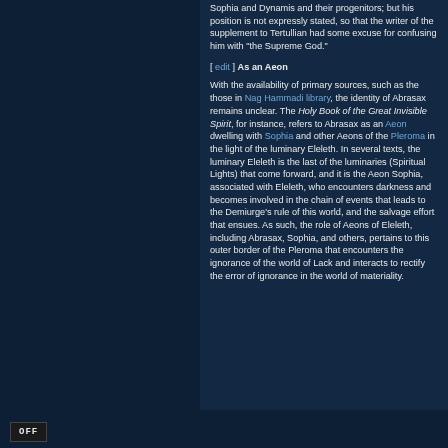Sophia and Dynamis and their progenitors; but his position is not expressly stated, so that the writer of the supplement to Tertullian had some excuse for confusing him with "the Supreme God."
[ edit ] As an Aeon
With the availability of primary sources, such as the those in Nag Hammadi library, the identity of Abrasax remains unclear. The Holy Book of the Great Invisible Spirit, for instance, refers to Abrasax as an Aeon dwelling with Sophia and other Aeons of the Pleroma in the light of the luminary Eleleth. In several texts, the luminary Eleleth is the last of the luminaries (Spiritual Lights) that come forward, and it is the Aeon Sophia, associated with Eleleth, who encounters darkness and becomes involved in the chain of events that leads to the Demiurge's rule of this world, and the salvage effort that ensues. As such, the role of Aeons of Eleleth, including Abrasax, Sophia, and others, pertains to this outer border of the Pleroma that encounters the ignorance of the world of Lack and interacts to rectify the error of ignorance in the world of materiality.